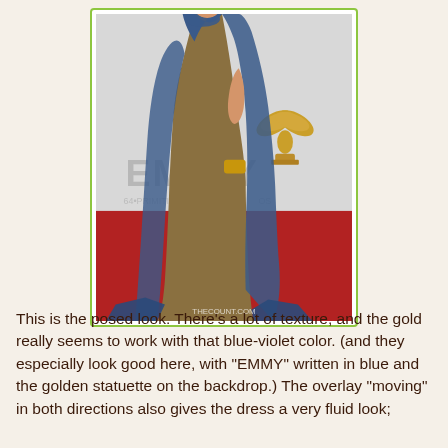[Figure (photo): A woman wearing a blue-violet and gold one-shoulder draped gown with a long train, standing on a red carpet in front of an Emmy Awards backdrop showing 'EMMY 64th Primetime' and a golden Emmy statuette. Photo watermarked THECOUNT.COM.]
This is the posed look. There's a lot of texture, and the gold really seems to work with that blue-violet color. (and they especially look good here, with "EMMY" written in blue and the golden statuette on the backdrop.) The overlay "moving" in both directions also gives the dress a very fluid look;